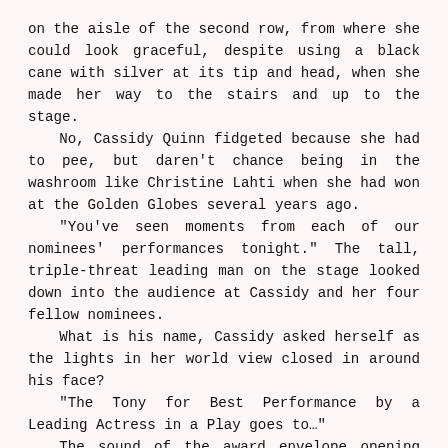on the aisle of the second row, from where she could look graceful, despite using a black cane with silver at its tip and head, when she made her way to the stairs and up to the stage.
	No, Cassidy Quinn fidgeted because she had to pee, but daren't chance being in the washroom like Christine Lahti when she had won at the Golden Globes several years ago.
	"You've seen moments from each of our nominees' performances tonight." The tall, triple-threat leading man on the stage looked down into the audience at Cassidy and her four fellow nominees.
	What is his name, Cassidy asked herself as the lights in her world view closed in around his face?
	"The Tony for Best Performance by a Leading Actress in a Play goes to…"
	The sound of the award envelope opening resounded through the theater. "Cassidy Quinn, for On The Rails."
	Faster than a run of A-Fib heartbeats yet feeling like she was in a slow motion cartoon, Cassidy made it up the stairs and across the stage toward he-whose-name-she-couldn't-remember.
	Just before reaching him and the gleaming Tony statue he held out to her, Cassidy managed to stumble over her cane. The audience gasped, but she turned it into a dance twirl with